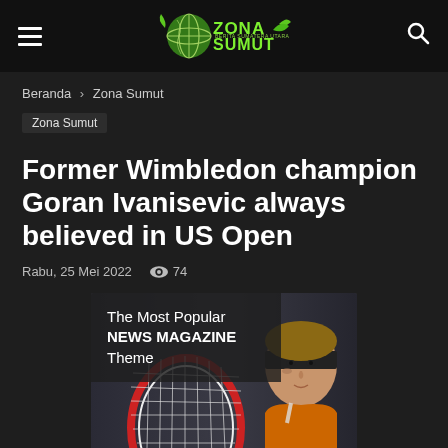Zona Sumut — Berita Sumatera Utara
Beranda › Zona Sumut
Zona Sumut
Former Wimbledon champion Goran Ivanisevic always believed in US Open
Rabu, 25 Mei 2022  👁 74
[Figure (photo): Featured article image showing a tennis racket and a female tennis player, with overlay text: 'The Most Popular NEWS MAGAZINE Theme']